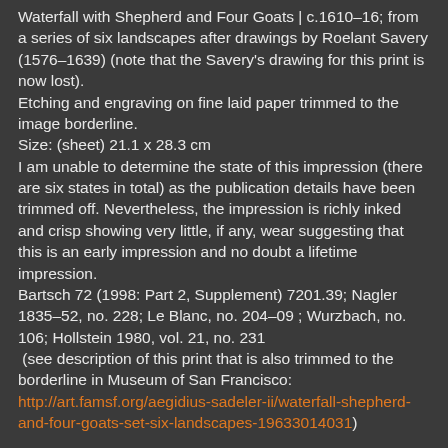Waterfall with Shepherd and Four Goats | c.1610–16; from a series of six landscapes after drawings by Roelant Savery (1576–1639) (note that the Savery's drawing for this print is now lost).
Etching and engraving on fine laid paper trimmed to the image borderline.
Size: (sheet) 21.1 x 28.3 cm
I am unable to determine the state of this impression (there are six states in total) as the publication details have been trimmed off. Nevertheless, the impression is richly inked and crisp showing very little, if any, wear suggesting that this is an early impression and no doubt a lifetime impression.
Bartsch 72 (1998: Part 2, Supplement) 7201.39; Nagler 1835–52, no. 228; Le Blanc, no. 204–09 ; Wurzbach, no. 106; Hollstein 1980, vol. 21, no. 231
 (see description of this print that is also trimmed to the borderline in Museum of San Francisco:
http://art.famsf.org/aegidius-sadeler-ii/waterfall-shepherd-and-four-goats-set-six-landscapes-19633014031)
Condition: Crisp and strong impression of this extremely rare print in superb condition (i.e. there are no stains, holes, folds or foxing). The print is trimmed to the image borderline and